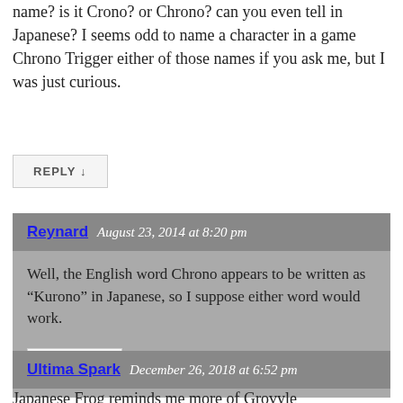name? is it Crono? or Chrono? can you even tell in Japanese? I seems odd to name a character in a game Chrono Trigger either of those names if you ask me, but I was just curious.
REPLY ↓
Reynard   August 23, 2014 at 8:20 pm
Well, the English word Chrono appears to be written as “Kurono” in Japanese, so I suppose either word would work.
REPLY ↓
Ultima Spark   December 26, 2018 at 6:52 pm
Japanese Frog reminds me more of Grovyle